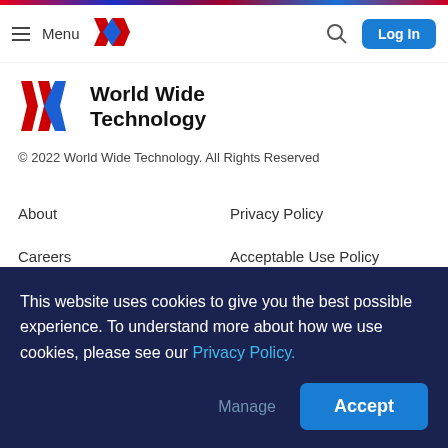Menu | World Wide Technology Logo | Search | Log In
[Figure (logo): World Wide Technology logo with red and blue W mark and company name]
© 2022 World Wide Technology. All Rights Reserved
About
Privacy Policy
Careers
Acceptable Use Policy
This website uses cookies to give you the best possible experience. To understand more about how we use cookies, please see our Privacy Policy.